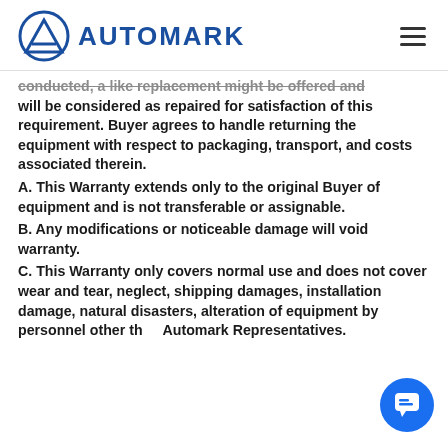[Figure (logo): Automark logo with triangle/circle icon and blue text AUTOMARK, plus hamburger menu icon on right]
conducted, a like replacement might be offered and will be considered as repaired for satisfaction of this requirement. Buyer agrees to handle returning the equipment with respect to packaging, transport, and costs associated therein.
A. This Warranty extends only to the original Buyer of equipment and is not transferable or assignable.
B. Any modifications or noticeable damage will void warranty.
C. This Warranty only covers normal use and does not cover wear and tear, neglect, shipping damages, installation damage, natural disasters, alteration of equipment by personnel other than Automark Representatives.